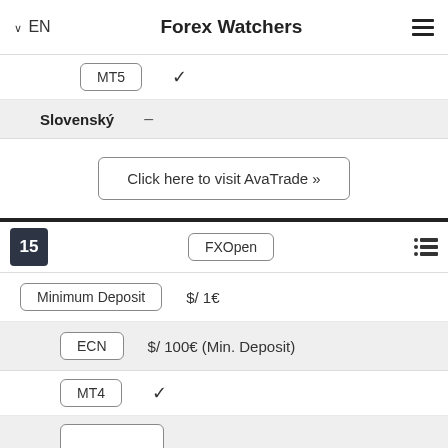EN | Forex Watchers
MT5 ✓
Slovenský –
Click here to visit AvaTrade »
15  FXOpen
Minimum Deposit  $/ 1€
ECN  $/ 100€ (Min. Deposit)
MT4  ✓